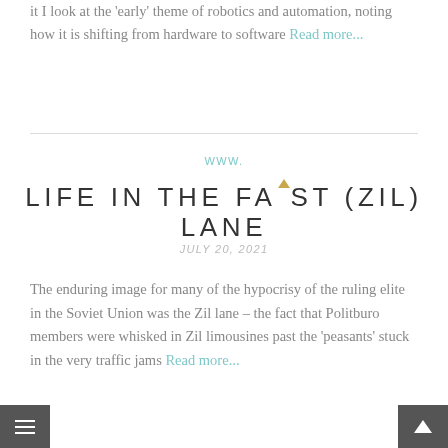it I look at the 'early' theme of robotics and automation, noting how it is shifting from hardware to software Read more...
WWW.
LIFE IN THE FAST (ZIL) LANE
JULY 20, 2021
The enduring image for many of the hypocrisy of the ruling elite in the Soviet Union was the Zil lane – the fact that Politburo members were whisked in Zil limousines past the 'peasants' stuck in the very traffic jams Read more...